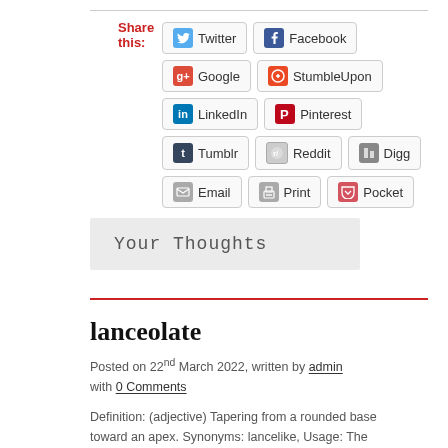Share this:
Twitter Facebook Google StumbleUpon LinkedIn Pinterest Tumblr Reddit Digg Email Print Pocket
Your Thoughts
lanceolate
Posted on 22nd March 2022, written by admin with 0 Comments
Definition: (adjective) Tapering from a rounded base toward an apex. Synonyms: lancelike, Usage: The